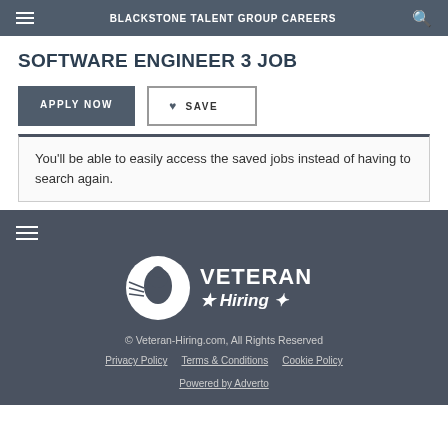BLACKSTONE TALENT GROUP CAREERS
SOFTWARE ENGINEER 3 JOB
APPLY NOW
SAVE
You'll be able to easily access the saved jobs instead of having to search again.
[Figure (logo): Veteran Hiring logo with eagle silhouette in circle and stars]
© Veteran-Hiring.com, All Rights Reserved
Privacy Policy   Terms & Conditions   Cookie Policy
Powered by Adverto